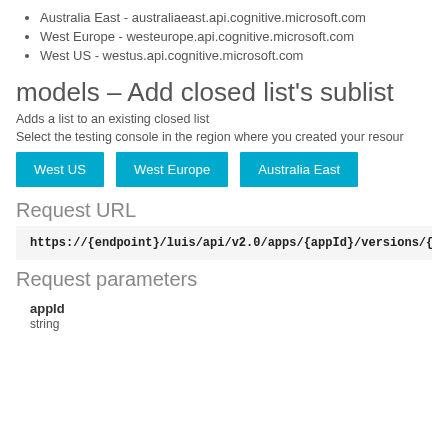Australia East - australiaeast.api.cognitive.microsoft.com
West Europe - westeurope.api.cognitive.microsoft.com
West US - westus.api.cognitive.microsoft.com
models - Add closed list's sublist
Adds a list to an existing closed list
Select the testing console in the region where you created your resour
[Figure (other): Three blue buttons: West US, West Europe, Australia East]
Request URL
https://{endpoint}/luis/api/v2.0/apps/{appId}/versions/{versionId}/clo
Request parameters
appId
string